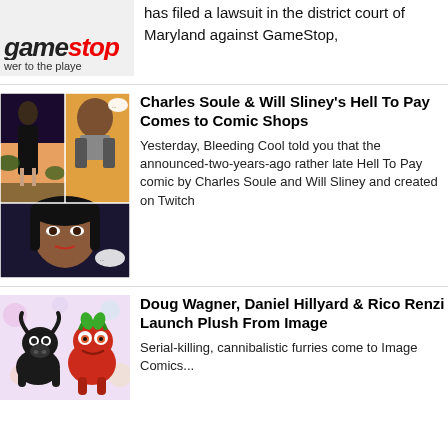[Figure (logo): GameStop logo with 'power to the player' tagline, partially cropped]
has filed a lawsuit in the district court of Maryland against GameStop,
[Figure (illustration): Comic book panel artwork showing stylized characters including a woman in a black dress and a man in a suit]
Charles Soule & Will Sliney's Hell To Pay Comes to Comic Shops
Yesterday, Bleeding Cool told you that the announced-two-years-ago rather late Hell To Pay comic by Charles Soule and Will Sliney and created on Twitch
[Figure (illustration): Colorful cartoon illustration showing plush animal characters including a black bull and a red pig-like creature]
Doug Wagner, Daniel Hillyard & Rico Renzi Launch Plush From Image
Serial-killing, cannibalistic furries come to Image Comics...